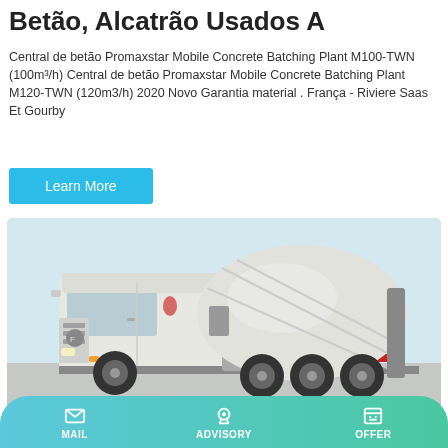Betão, Alcatrão Usados A
Central de betão Promaxstar Mobile Concrete Batching Plant M100-TWN (100m³/h) Central de betão Promaxstar Mobile Concrete Batching Plant M120-TWN (120m3/h) 2020 Novo Garantia material . França - Riviere Saas Et Gourby
Learn More
[Figure (photo): White concrete mixer truck (cement truck) with a large rotating drum on the rear, photographed in an outdoor setting with a light sky background.]
MAIL  ADVISORY  OFFER